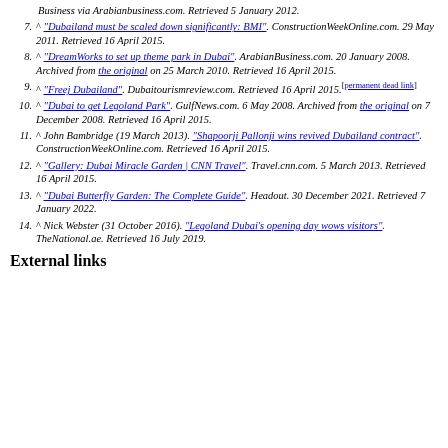^ "Dubailand must be scaled down significantly: BMI". ConstructionWeekOnline.com. 29 May 2011. Retrieved 16 April 2015.
^ "DreamWorks to set up theme park in Dubai". ArabianBusiness.com. 20 January 2008. Archived from the original on 25 March 2010. Retrieved 16 April 2015.
^ "Freej Dubailand". Dubaitourismreview.com. Retrieved 16 April 2015. [permanent dead link]
^ "Dubai to get Legoland Park". GulfNews.com. 6 May 2008. Archived from the original on 7 December 2008. Retrieved 16 April 2015.
^ John Bambridge (19 March 2013). "Shapoorji Pallonji wins revived Dubailand contract". ConstructionWeekOnline.com. Retrieved 16 April 2015.
^ "Gallery: Dubai Miracle Garden | CNN Travel". Travel.cnn.com. 5 March 2013. Retrieved 16 April 2015.
^ "Dubai Butterfly Garden: The Complete Guide". Headout. 30 December 2021. Retrieved 7 January 2022.
^ Nick Webster (31 October 2016). "Legoland Dubai's opening day wows visitors". TheNational.ae. Retrieved 16 July 2019.
External links